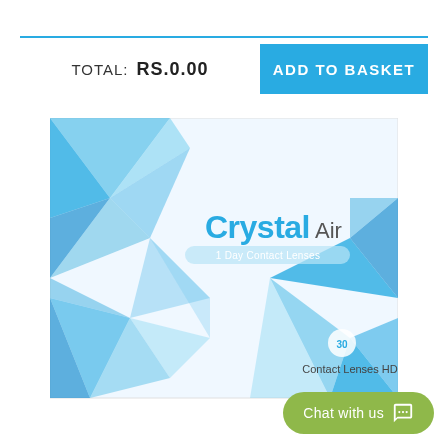TOTAL:   RS.0.00
ADD TO BASKET
[Figure (photo): Crystal Air 1 Day Contact Lenses product box with blue geometric crystal/diamond shapes on a white background. The box shows the brand name 'Crystal Air' with '1 Day Contact Lenses' subtitle. Bottom right shows a pack icon with '30' and text 'Contact Lenses HD'.]
Chat with us